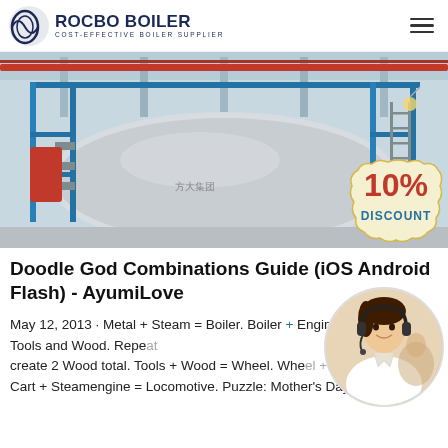ROCBO BOILER — COST-EFFECTIVE BOILER SUPPLIER
[Figure (photo): Industrial boiler machinery in a facility with blue metal scaffolding and red pipes, overlaid with a '10% DISCOUNT' badge in cream/red colors]
Doodle God Combinations Guide (iOS Android Flash) - AyumiLove
May 12, 2013 · Metal + Steam = Boiler. Boiler + Engine. Tools + Tree = Tools and Wood. Repe... create 2 Wood total. Tools + Wood = Wheel. Whe... Cart + Steamengine = Locomotive. Puzzle: Mother's Day Postcar...